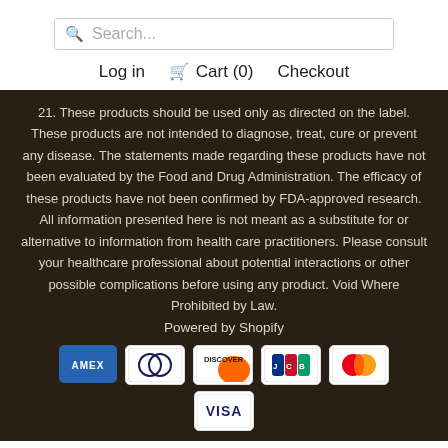Search...
Log in   Cart (0)   Checkout
21. These products should be used only as directed on the label. These products are not intended to diagnose, treat, cure or prevent any disease. The statements made regarding these products have not been evaluated by the Food and Drug Administration. The efficacy of these products have not been confirmed by FDA-approved research. All information presented here is not meant as a substitute for or alternative to information from health care practitioners. Please consult your healthcare professional about potential interactions or other possible complications before using any product. Void Where Prohibited by Law.
Powered by Shopify
[Figure (other): Payment method icons: American Express (AMEX), Diners Club, Discover, JCB, Mastercard, Visa]